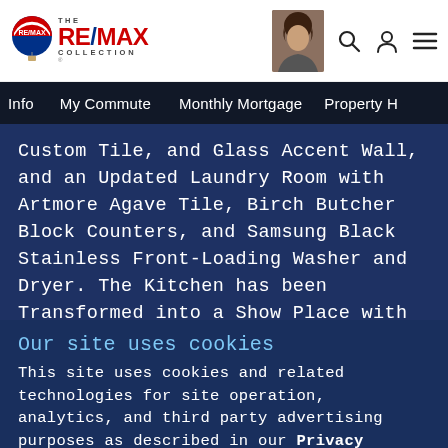RE/MAX COLLECTION
Info  My Commute  Monthly Mortgage  Property H
Custom Tile, and Glass Accent Wall, and an Updated Laundry Room with Artmore Agave Tile, Birch Butcher Block Counters, and Samsung Black Stainless Front-Loading Washer and Dryer. The Kitchen has been Transformed into a Show Place with a Redesigned Custom Center Island, White Arabesque Quartz Counters, Custom Italian Herringbone Marble Backsplash, White Cabinets with Soft-close Pull-Out Shelving, Under Cabinet LED
Our site uses cookies
This site uses cookies and related technologies for site operation, analytics, and third party advertising purposes as described in our Privacy Notice .
ACCEPT